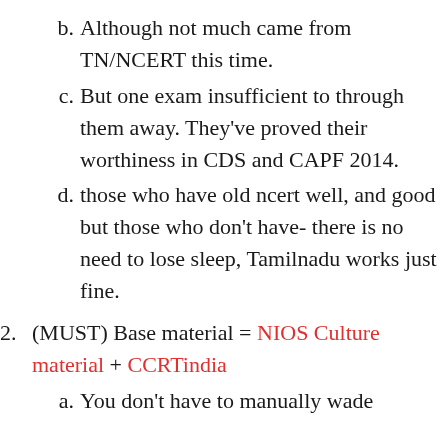b. Although not much came from TN/NCERT this time.
c. But one exam insufficient to through them away. They've proved their worthiness in CDS and CAPF 2014.
d. those who have old ncert well, and good but those who don't have- there is no need to lose sleep, Tamilnadu works just fine.
2. (MUST) Base material = NIOS Culture material + CCRTindia
a. You don't have to manually wade